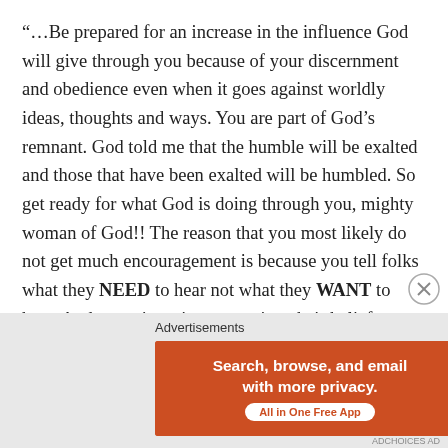“…Be prepared for an increase in the influence God will give through you because of your discernment and obedience even when it goes against worldly ideas, thoughts and ways. You are part of God’s remnant. God told me that the humble will be exalted and those that have been exalted will be humbled. So get ready for what God is doing through you, mighty woman of God!! The reason that you most likely do not get much encouragement is because you tell folks what they NEED to hear not what they WANT to hear. And sometimes it goes against their beliefs or even culture. But it is the truth and they need to embrace the wisdom you share.”
Advertisements
[Figure (other): DuckDuckGo advertisement banner: orange background on left with text 'Search, browse, and email with more privacy. All in One Free App' and dark background on right with DuckDuckGo logo.]